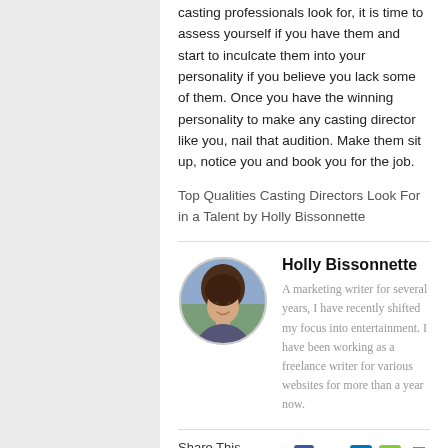casting professionals look for, it is time to assess yourself if you have them and start to inculcate them into your personality if you believe you lack some of them. Once you have the winning personality to make any casting director like you, nail that audition. Make them sit up, notice you and book you for the job.
Top Qualities Casting Directors Look For in a Talent by Holly Bissonnette
[Figure (photo): Circular portrait photo of Holly Bissonnette, a woman with dark hair, smiling]
Holly Bissonnette
A marketing writer for several years, I have recently shifted my focus into entertainment. I have been working as a freelance writer for various websites for more than a year now.
Share This Post